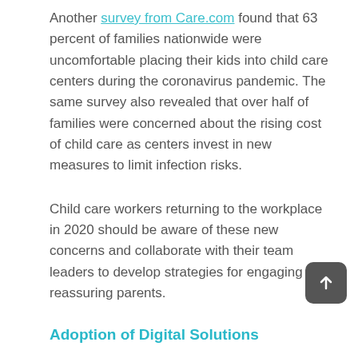Another survey from Care.com found that 63 percent of families nationwide were uncomfortable placing their kids into child care centers during the coronavirus pandemic. The same survey also revealed that over half of families were concerned about the rising cost of child care as centers invest in new measures to limit infection risks.
Child care workers returning to the workplace in 2020 should be aware of these new concerns and collaborate with their team leaders to develop strategies for engaging and reassuring parents.
Adoption of Digital Solutions